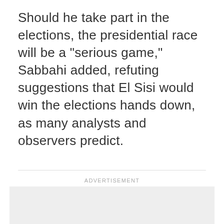Should he take part in the elections, the presidential race will be a "serious game," Sabbahi added, refuting suggestions that El Sisi would win the elections hands down, as many analysts and observers predict.
ADVERTISEMENT
[Figure (other): Advertisement placeholder box, light gray background]